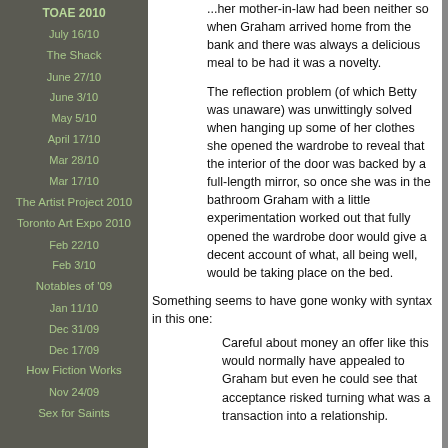TOAE 2010
July 16/10
The Shack
June 27/10
June 3/10
May 5/10
April 17/10
Mar 28/10
Mar 17/10
The Artist Project 2010
Toronto Art Expo 2010
Feb 22/10
Feb 3/10
Notables of '09
Jan 11/10
Dec 31/09
Dec 17/09
How Fiction Works
Nov 24/09
Sex for Saints
...her mother-in-law had been neither so when Graham arrived home from the bank and there was always a delicious meal to be had it was a novelty.
The reflection problem (of which Betty was unaware) was unwittingly solved when hanging up some of her clothes she opened the wardrobe to reveal that the interior of the door was backed by a full-length mirror, so once she was in the bathroom Graham with a little experimentation worked out that fully opened the wardrobe door would give a decent account of what, all being well, would be taking place on the bed.
Something seems to have gone wonky with syntax in this one:
Careful about money an offer like this would normally have appealed to Graham but even he could see that acceptance risked turning what was a transaction into a relationship.